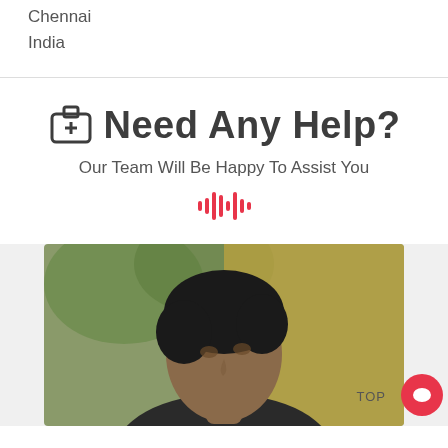Chennai
India
Need Any Help?
Our Team Will Be Happy To Assist You
[Figure (illustration): Red waveform / audio bars decorative icon]
[Figure (photo): Photo of a young man with black hair, face in profile/three-quarter view, outdoors background with greenery and golden tones. A 'TOP' button and red chat widget are overlaid in the bottom right.]